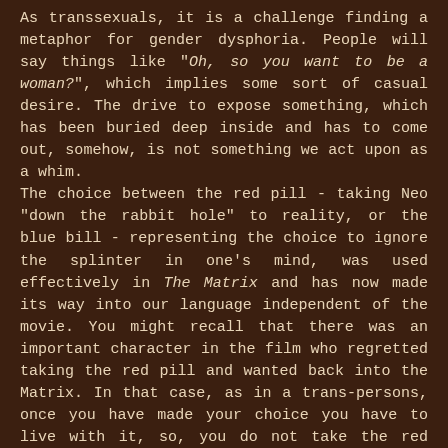As transsexuals, it is a challenge finding a metaphor for gender dysphoria. People will say things like "Oh, so you want to be a woman?", which implies some sort of casual desire. The drive to expose something, which has been buried deep inside and has to come out, somehow, is not something we act upon as a whim. The choice between the red pill - taking Neo "down the rabbit hole" to reality, or the blue bill - representing the choice to ignore the splinter in one's mind, was used effectively in The Matrix and has now made its way into our language independent of the movie. You might recall that there was an important character in the film who regretted taking the red pill and wanted back into the Matrix. In that case, as in a trans-persons, once you have made your choice you have to live with it, so, you do not take the red pill unless you must. As to being a free spirit, I would say that now I